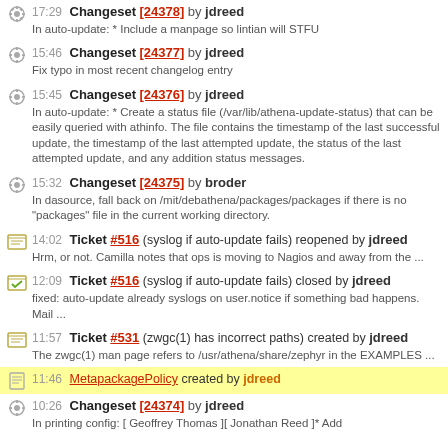17:29 Changeset [24378] by jdreed — In auto-update: * Include a manpage so lintian will STFU
15:46 Changeset [24377] by jdreed — Fix typo in most recent changelog entry
15:45 Changeset [24376] by jdreed — In auto-update: * Create a status file (/var/lib/athena-update-status) that can be easily queried with athinfo. The file contains the timestamp of the last successful update, the timestamp of the last attempted update, the status of the last attempted update, and any addition status messages.
15:32 Changeset [24375] by broder — In dasource, fall back on /mit/debathena/packages/packages if there is no "packages" file in the current working directory.
14:02 Ticket #516 (syslog if auto-update fails) reopened by jdreed — Hrm, or not. Camilla notes that ops is moving to Nagios and away from the ...
12:09 Ticket #516 (syslog if auto-update fails) closed by jdreed — fixed: auto-update already syslogs on user.notice if something bad happens. Mail ...
11:57 Ticket #531 (zwgc(1) has incorrect paths) created by jdreed — The zwgc(1) man page refers to /usr/athena/share/zephyr in the EXAMPLES ...
11:46 MetapackagePolicy created by jdreed
10:26 Changeset [24374] by jdreed — In printing config: [ Geoffrey Thomas ][ Jonathan Reed ]* Add